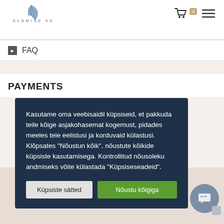[Figure (logo): Elamise Kergus logo with feather icon and text ELAMISE KERGUS]
FAQ
PAYMENTS
Kasutame oma veebisaidil küpsiseid, et pakkuda teile kõige asjakohasemat kogemust, pidades meeles teie eelistusi ja korduvaid külastusi. Klõpsates "Nõustun kõik", nõustute kõikide küpsiste kasutamisega. Kontrollitud nõusoleku andmiseks võite külastada "Küpsiseseadeid".
Küpsiste sätted
Nõustu kõigiga